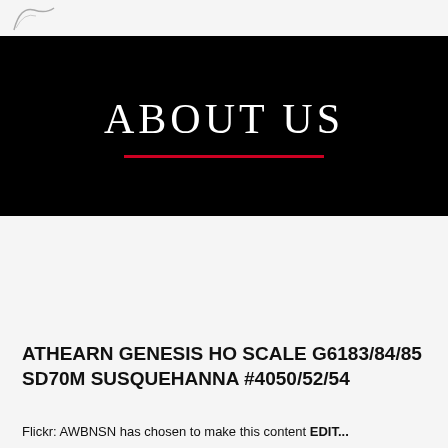ABOUT US
[Figure (screenshot): Navigation bar with icons: backslash, G, V, two box icons, and an active X tab with number 3, on a dark slate background with a red active state]
ATHEARN GENESIS HO SCALE G6183/84/85 SD70M SUSQUEHANNA #4050/52/54
Flickr: AWBNSN has chosen to make this content EDIT...